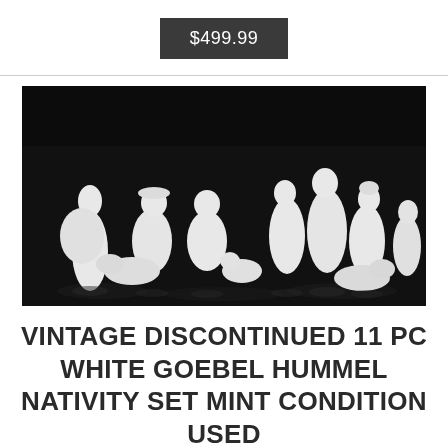$499.99
[Figure (photo): White Goebel Hummel nativity figurines arranged on a dark reflective surface, approximately 11 white ceramic figurines including human and animal figures]
VINTAGE DISCONTINUED 11 PC WHITE GOEBEL HUMMEL NATIVITY SET MINT CONDITION USED